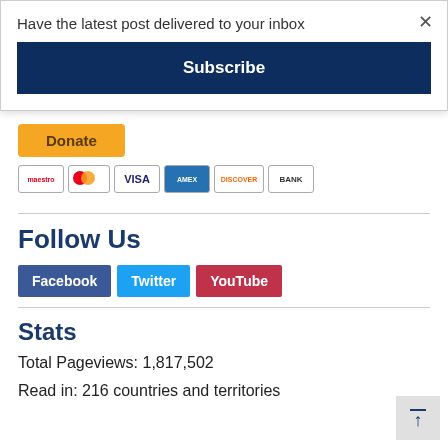Have the latest post delivered to your inbox
Subscribe
[Figure (other): Donate button with payment icons (Maestro, Mastercard, VISA, American Express, Discover, Bank)]
Follow Us
Facebook  Twitter  YouTube
Stats
Total Pageviews: 1,817,502
Read in: 216 countries and territories